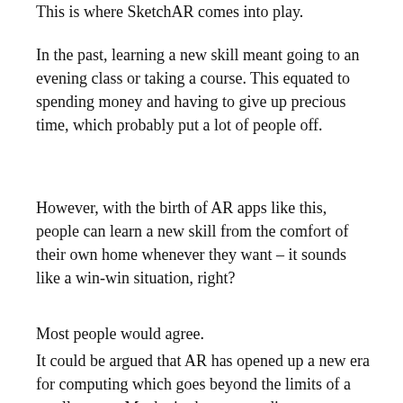This is where SketchAR comes into play.
In the past, learning a new skill meant going to an evening class or taking a course. This equated to spending money and having to give up precious time, which probably put a lot of people off.
However, with the birth of AR apps like this, people can learn a new skill from the comfort of their own home whenever they want – it sounds like a win-win situation, right?
Most people would agree.
It could be argued that AR has opened up a new era for computing which goes beyond the limits of a small screen. Maybe in the not-too-distant